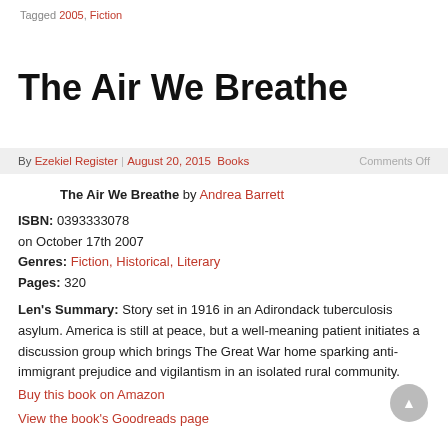Tagged 2005, Fiction
The Air We Breathe
By Ezekiel Register | August 20, 2015  Books    Comments Off
The Air We Breathe by Andrea Barrett
ISBN: 0393333078
on October 17th 2007
Genres: Fiction, Historical, Literary
Pages: 320
Len's Summary: Story set in 1916 in an Adirondack tuberculosis asylum. America is still at peace, but a well-meaning patient initiates a discussion group which brings The Great War home sparking anti-immigrant prejudice and vigilantism in an isolated rural community.
Buy this book on Amazon
View the book's Goodreads page